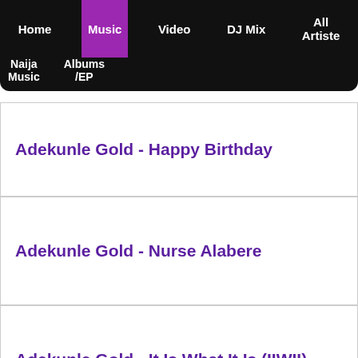Home | Music | Video | DJ Mix | All Artiste | Naija Music | Albums /EP
Adekunle Gold - Happy Birthday
Adekunle Gold - Nurse Alabere
Adekunle Gold - It Is What It Is (IIWII)
Adekunle Gold - Temptation